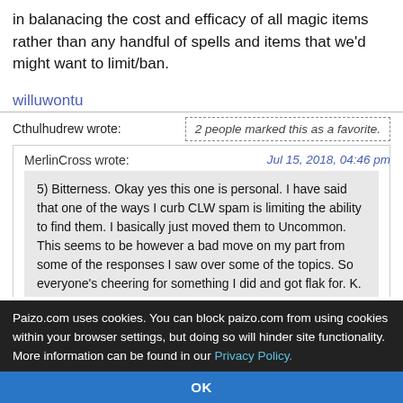in balanacing the cost and efficacy of all magic items rather than any handful of spells and items that we'd might want to limit/ban.
willuwontu
Jul 15, 2018, 04:46 pm
Cthulhudrew wrote:
2 people marked this as a favorite.
MerlinCross wrote:
5) Bitterness. Okay yes this one is personal. I have said that one of the ways I curb CLW spam is limiting the ability to find them. I basically just moved them to Uncommon. This seems to be however a bad move on my part from some of the responses I saw over some of the topics. So everyone's cheering for something I did and got flak for. K.
This is actually (perhaps unintentionally) an interesting point. Not
Paizo.com uses cookies. You can block paizo.com from using cookies within your browser settings, but doing so will hinder site functionality. More information can be found in our Privacy Policy.
OK